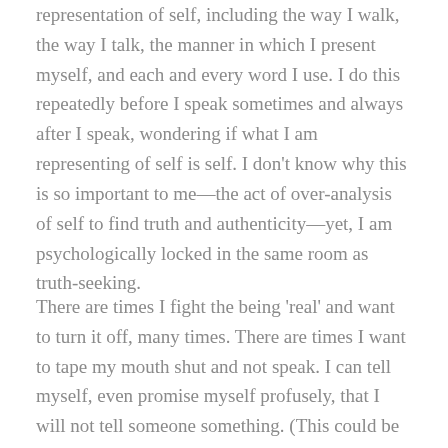representation of self, including the way I walk, the way I talk, the manner in which I present myself, and each and every word I use. I do this repeatedly before I speak sometimes and always after I speak, wondering if what I am representing of self is self. I don't know why this is so important to me—the act of over-analysis of self to find truth and authenticity—yet, I am psychologically locked in the same room as truth-seeking.
There are times I fight the being 'real' and want to turn it off, many times. There are times I want to tape my mouth shut and not speak. I can tell myself, even promise myself profusely, that I will not tell someone something. (This could be a simple fact, an aspect about myself, another or an event, a conclusion about an emotion, a revelation of sorts, or information that reveals an intimate aspect of a given situation.) But it doesn't matter how I try to stop...